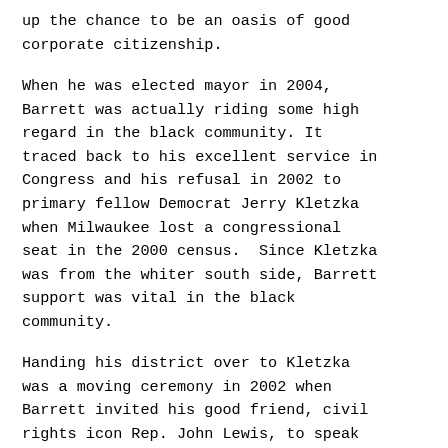up the chance to be an oasis of good corporate citizenship.
When he was elected mayor in 2004, Barrett was actually riding some high regard in the black community. It traced back to his excellent service in Congress and his refusal in 2002 to primary fellow Democrat Jerry Kletzka when Milwaukee lost a congressional seat in the 2000 census.  Since Kletzka was from the whiter south side, Barrett support was vital in the black community.
Handing his district over to Kletzka was a moving ceremony in 2002 when Barrett invited his good friend, civil rights icon Rep. John Lewis, to speak